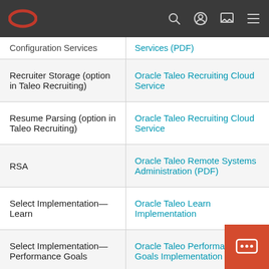Oracle navigation bar with logo and icons
| Service/Feature | Documentation Link |
| --- | --- |
| Configuration Services | Services (PDF) |
| Recruiter Storage (option in Taleo Recruiting) | Oracle Taleo Recruiting Cloud Service |
| Resume Parsing (option in Taleo Recruiting) | Oracle Taleo Recruiting Cloud Service |
| RSA | Oracle Taleo Remote Systems Administration (PDF) |
| Select Implementation—Learn | Oracle Taleo Learn Implementation |
| Select Implementation—Performance Goals | Oracle Taleo Performance Goals Implementation |
| Select Implementation—Performance Reviews | Oracle Taleo Performance Review Implementation |